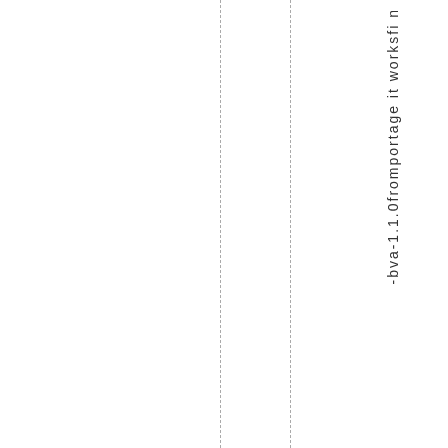-bva-1.1.0fromportage it worksfi n